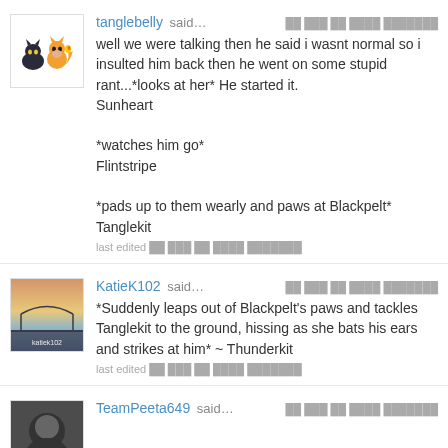tanglebelly said… [timestamp]
well we were talking then he said i wasnt normal so i insulted him back then he went on some stupid rant...*looks at her* He started it.
Sunheart

*watches him go*
Flintstripe

*pads up to them wearly and paws at Blackpelt*
Tanglekit
last edited [timestamp]
KatieK102 said… [timestamp]
*Suddenly leaps out of Blackpelt's paws and tackles Tanglekit to the ground, hissing as she bats his ears and strikes at him* ~ Thunderkit
last edited [timestamp]
TeamPeeta649 said… [timestamp]
[text continues below]